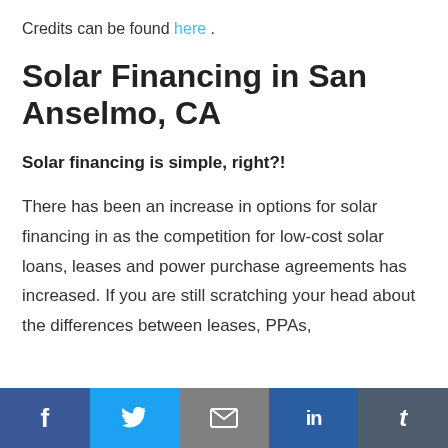Credits can be found here .
Solar Financing in San Anselmo, CA
Solar financing is simple, right?!
There has been an increase in options for solar financing in as the competition for low-cost solar loans, leases and power purchase agreements has increased. If you are still scratching your head about the differences between leases, PPAs,
f  [twitter]  [mail]  in  t